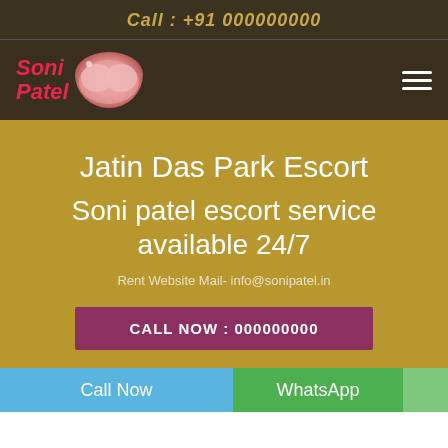Call : +91 000000000
[Figure (logo): Soni Patel logo with stylized text and decorative image]
Jatin Das Park Escort
Soni patel escort service available 24/7
Rent Website Mail- info@sonipatel.in
CALL NOW : 000000000
Call Now   WhatsApp